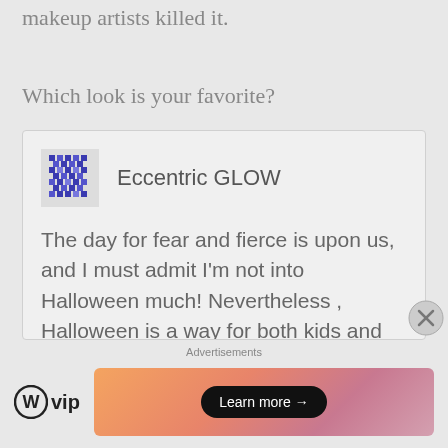makeup artists killed it.
Which look is your favorite?
Eccentric GLOW
The day for fear and fierce is upon us, and I must admit I'm not into Halloween much! Nevertheless , Halloween is a way for both kids and adults to get creative, Im especially excited to see all of the dope Halloween looks blessing social media today. Take a
Advertisements
[Figure (logo): WordPress VIP logo with circle W icon and 'vip' text]
[Figure (infographic): Advertisement banner with gradient orange-pink background and 'Learn more →' button]